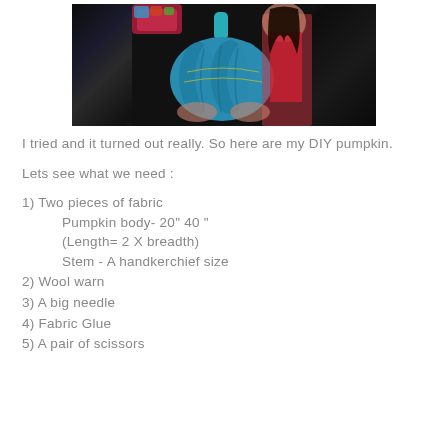[Figure (photo): A woman holding a blue fabric pumpkin craft in front of a dark background. The pumpkin is wrapped in blue fabric with a teal stem and yarn accents. The woman is wearing a pink/red top and has dark hair.]
I tried and it turned out really. So here are my DIY pumpkin.
Lets see what we need :
1) Two pieces of fabric
   Pumpkin body- 20" 40 "
   (Length= 2 X breadth)
   Stem - A handkerchief size
2) Wool warn
3) A big needle
4) Fabric Glue
5) A pair of scissors